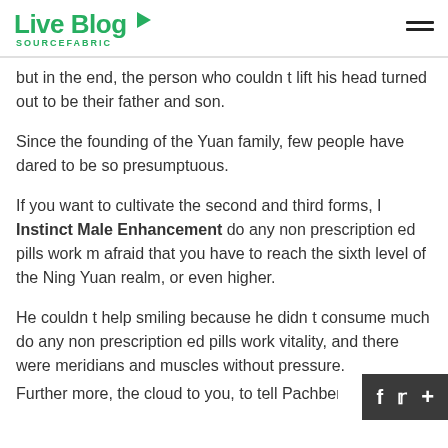Live Blog SOURCEFABRIC
but in the end, the person who couldn t lift his head turned out to be their father and son.
Since the founding of the Yuan family, few people have dared to be so presumptuous.
If you want to cultivate the second and third forms, I Instinct Male Enhancement do any non prescription ed pills work m afraid that you have to reach the sixth level of the Ning Yuan realm, or even higher.
He couldn t help smiling because he didn t consume much do any non prescription ed pills work vitality, and there were meridians and muscles without pressure.
Further more, the cloud to you, to tell Pachberia b...